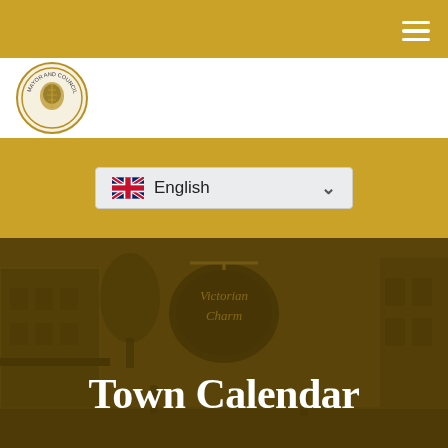Navigation bar with hamburger menu icon
[Figure (logo): Circular town seal/logo for Mayor and Council]
[Figure (screenshot): Language selector dropdown showing English with UK flag]
Town Calendar
[Figure (photo): Sepia-toned street scene with Victorian Charm shop sign overlay]